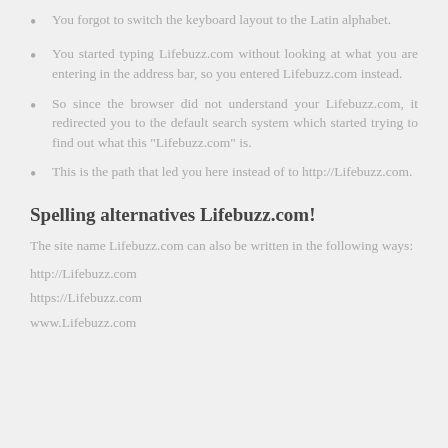You forgot to switch the keyboard layout to the Latin alphabet.
You started typing Lifebuzz.com without looking at what you are entering in the address bar, so you entered Lifebuzz.com instead.
So since the browser did not understand your Lifebuzz.com, it redirected you to the default search system which started trying to find out what this "Lifebuzz.com" is.
This is the path that led you here instead of to http://Lifebuzz.com.
Spelling alternatives Lifebuzz.com!
The site name Lifebuzz.com can also be written in the following ways:
http://Lifebuzz.com
https://Lifebuzz.com
www.Lifebuzz.com